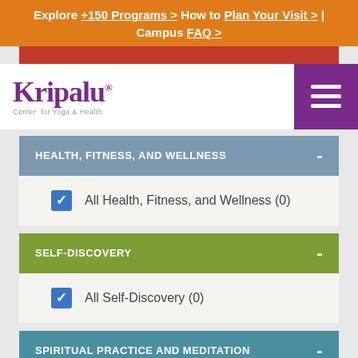Explore +150 Programs > How to Plan Your Visit > | Campus FAQ >
[Figure (logo): Kripalu Center for Yoga & Health logo with purple wordmark and hamburger menu icon]
HEALTH, FITNESS, AND WELLNESS -
All Health, Fitness, and Wellness (0)
SELF-DISCOVERY -
All Self-Discovery (0)
SPIRITUAL PRACTICE AND MEDITATION -
Spiritual and Surrendering (0) [partial]